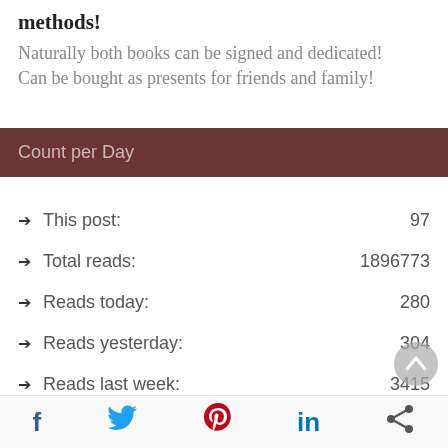methods!
Naturally both books can be signed and dedicated! Can be bought as presents for friends and family!
Count per Day
This post: 97
Total reads: 1896773
Reads today: 280
Reads yesterday: 304
Reads last week: 3415
Reads per month: 2202